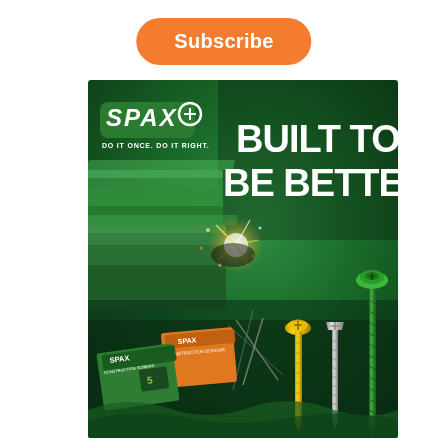[Figure (illustration): Orange rounded rectangle Subscribe button at top center of page]
[Figure (illustration): SPAX advertisement image with green background showing SPAX logo, 'DO IT ONCE. DO IT RIGHT.' tagline, 'BUILT TO BE BETTER' headline text, green storage boxes, SPAX screw product boxes, welding sparks, and three screws (gold, silver, green) on the right side]